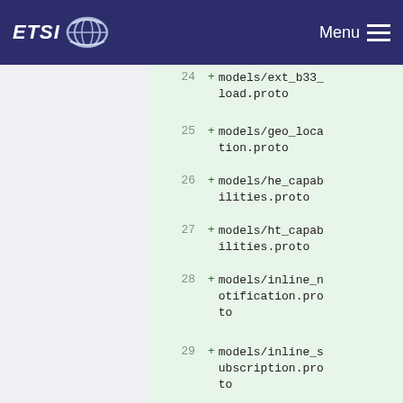ETSI Menu
24 + models/ext_b33_load.proto
25 + models/geo_location.proto
26 + models/he_capabilities.proto
27 + models/ht_capabilities.proto
28 + models/inline_notification.proto
29 + models/inline_subscription.proto
30 + models/link_type.proto
31 + models/measurement_config.proto
32 + models/measurement_config_link